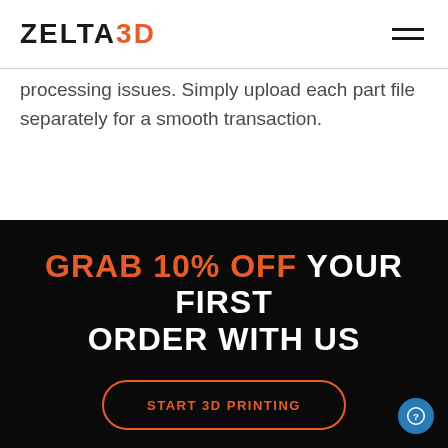ZELTA3D
processing issues. Simply upload each part file separately for a smooth transaction.
GRAB 10% OFF YOUR FIRST ORDER WITH US
START 3D PRINTING